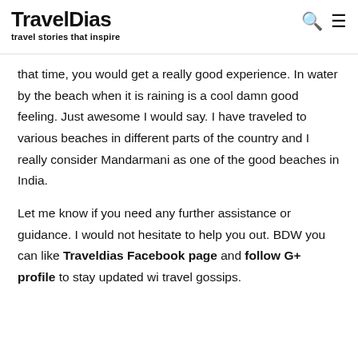TravelDias — travel stories that inspire
that time, you would get a really good experience. In water by the beach when it is raining is a cool damn good feeling. Just awesome I would say. I have traveled to various beaches in different parts of the country and I really consider Mandarmani as one of the good beaches in India.
Let me know if you need any further assistance or guidance. I would not hesitate to help you out. BDW you can like Traveldias Facebook page and follow G+ profile to stay updated wi travel gossips.